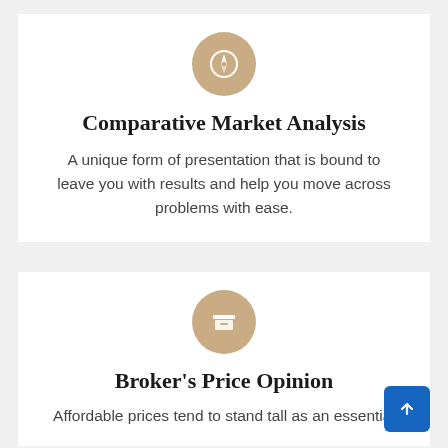[Figure (illustration): Compass icon inside a tan/gold circle]
Comparative Market Analysis
A unique form of presentation that is bound to leave you with results and help you move across problems with ease.
[Figure (illustration): Archive/box icon inside a tan/gold circle]
Broker's Price Opinion
Affordable prices tend to stand tall as an essential